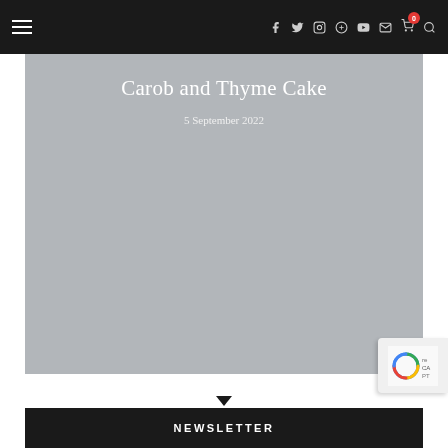Navigation bar with hamburger menu and social/cart icons
[Figure (photo): Hero image placeholder (grey background) for Carob and Thyme Cake blog post, with article title and date overlaid]
Carob and Thyme Cake
5 September 2022
NEWSLETTER